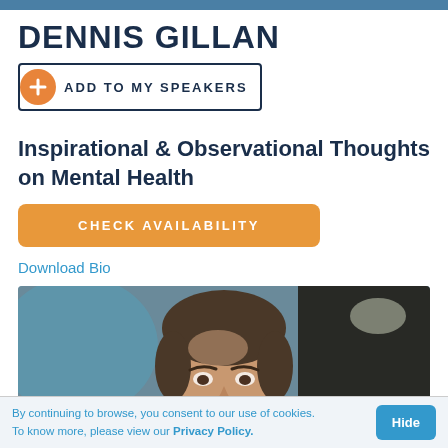DENNIS GILLAN
+ ADD TO MY SPEAKERS
Inspirational & Observational Thoughts on Mental Health
CHECK AVAILABILITY
Download Bio
[Figure (photo): Portrait photo of Dennis Gillan, a man with brown hair, shown from the shoulders up against a blurred background]
By continuing to browse, you consent to our use of cookies. To know more, please view our Privacy Policy.